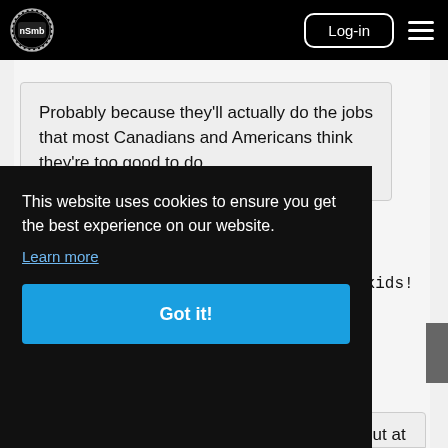nSMb — Log-in navigation bar
Probably because they'll actually do the jobs that most Canadians and Americans think they're too good to do.
Fair statement....remember this one kids!
This website uses cookies to ensure you get the best experience on our website.
Learn more
Got it!
It would be a boring election cycle without at